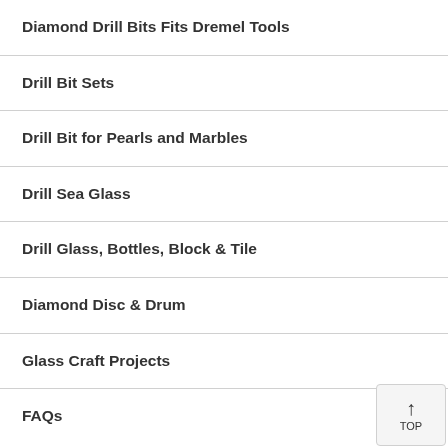Diamond Drill Bits Fits Dremel Tools
Drill Bit Sets
Drill Bit for Pearls and Marbles
Drill Sea Glass
Drill Glass, Bottles, Block & Tile
Diamond Disc & Drum
Glass Craft Projects
FAQs